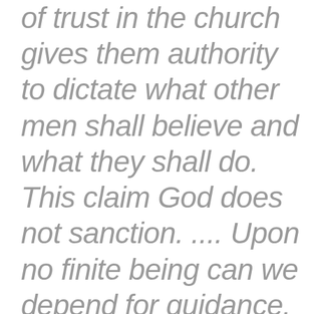of trust in the church gives them authority to dictate what other men shall believe and what they shall do. This claim God does not sanction. .... Upon no finite being can we depend for guidance. The Rock of faith is the living presence of Christ in the church. Upon